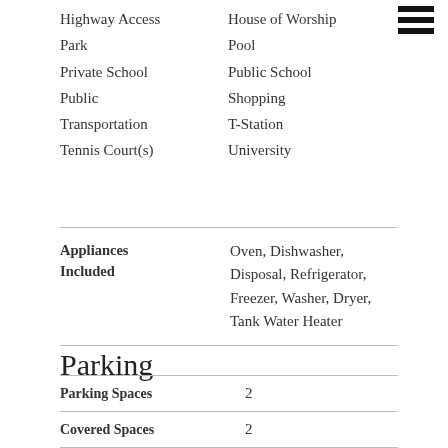Highway Access
House of Worship
Park
Pool
Private School
Public School
Public Transportation
Shopping
Tennis Court(s)
T-Station
University
| Field | Value |
| --- | --- |
| Appliances Included | Oven, Dishwasher, Disposal, Refrigerator, Freezer, Washer, Dryer, Tank Water Heater |
| Parking Spaces | 2 |
| Covered Spaces | 2 |
| Garage YN | Yes |
Parking